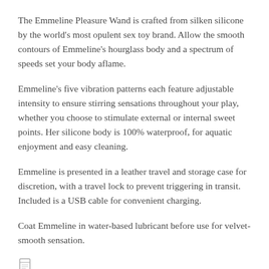The Emmeline Pleasure Wand is crafted from silken silicone by the world's most opulent sex toy brand. Allow the smooth contours of Emmeline's hourglass body and a spectrum of speeds set your body aflame.
Emmeline's five vibration patterns each feature adjustable intensity to ensure stirring sensations throughout your play, whether you choose to stimulate external or internal sweet points. Her silicone body is 100% waterproof, for aquatic enjoyment and easy cleaning.
Emmeline is presented in a leather travel and storage case for discretion, with a travel lock to prevent triggering in transit. Included is a USB cable for convenient charging.
Coat Emmeline in water-based lubricant before use for velvet-smooth sensation.
[Figure (other): Small document/page icon at bottom left]